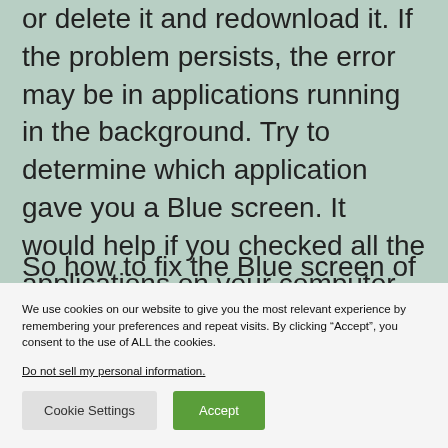or delete it and redownload it. If the problem persists, the error may be in applications running in the background. Try to determine which application gave you a Blue screen. It would help if you checked all the applications on your computer and reinstalled the faulty one.
So how to fix the Blue screen of death on
We use cookies on our website to give you the most relevant experience by remembering your preferences and repeat visits. By clicking “Accept”, you consent to the use of ALL the cookies.
Do not sell my personal information.
Cookie Settings
Accept